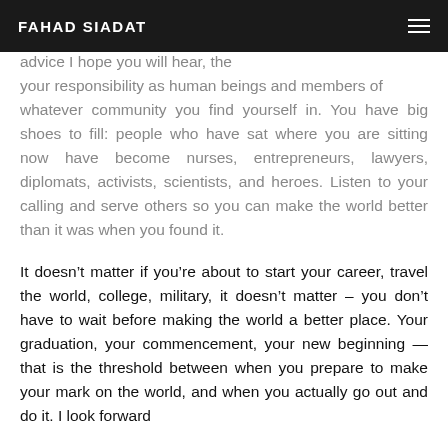FAHAD SIADAT
advice I hope you will hear, the your responsibility as human beings and members of whatever community you find yourself in. You have big shoes to fill: people who have sat where you are sitting now have become nurses, entrepreneurs, lawyers, diplomats, activists, scientists, and heroes. Listen to your calling and serve others so you can make the world better than it was when you found it.
It doesn’t matter if you’re about to start your career, travel the world, college, military, it doesn’t matter – you don’t have to wait before making the world a better place. Your graduation, your commencement, your new beginning — that is the threshold between when you prepare to make your mark on the world, and when you actually go out and do it. I look forward